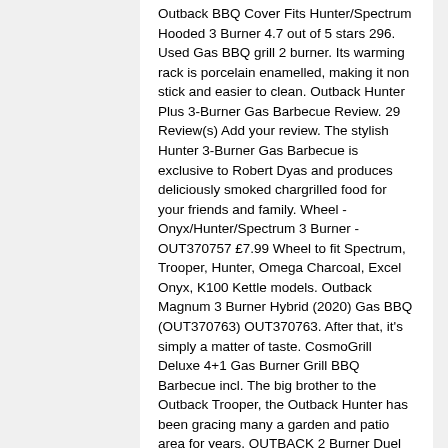Outback BBQ Cover Fits Hunter/Spectrum Hooded 3 Burner 4.7 out of 5 stars 296. Used Gas BBQ grill 2 burner. Its warming rack is porcelain enamelled, making it non stick and easier to clean. Outback Hunter Plus 3-Burner Gas Barbecue Review. 29 Review(s) Add your review. The stylish Hunter 3-Burner Gas Barbecue is exclusive to Robert Dyas and produces deliciously smoked chargrilled food for your friends and family. Wheel -Onyx/Hunter/Spectrum 3 Burner - OUT370757 £7.99 Wheel to fit Spectrum, Trooper, Hunter, Omega Charcoal, Excel Onyx, K100 Kettle models. Outback Magnum 3 Burner Hybrid (2020) Gas BBQ (OUT370763) OUT370763. After that, it's simply a matter of taste. CosmoGrill Deluxe 4+1 Gas Burner Grill BBQ Barbecue incl. The big brother to the Outback Trooper, the Outback Hunter has been gracing many a garden and patio area for years. OUTBACK 2 Burner Duel Fuel Hooded Gas and Charcoal BBQ. Model. £299.99. More buying choices £45.98 (4 new offers) Unicook BBQ Cover, Heavy Duty Waterproof Outdoor Barbecue Grill Cover, Anti-UV Oxford Fabric, All Weather Resistant, Fits Weber Char Broil Outback Barbecues and More, 165 x 61 x 112 cm, Black. Qty . Add to Basket. Extensive product range includes BBQ Covers, Accessories, Spare Parts, and